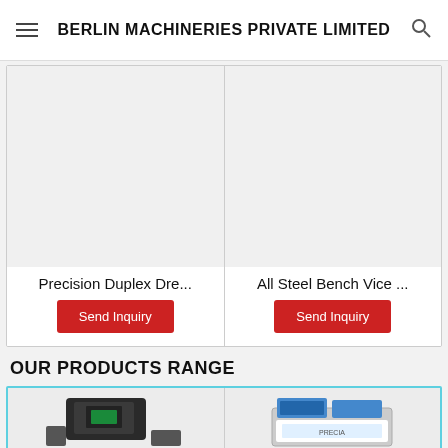BERLIN MACHINERIES PRIVATE LIMITED
[Figure (photo): Product card: Precision Duplex Dre... with Send Inquiry button]
[Figure (photo): Product card: All Steel Bench Vice ... with Send Inquiry button]
OUR PRODUCTS RANGE
[Figure (photo): Product range card showing a machine (left)]
[Figure (photo): Product range card showing a machine (right)]